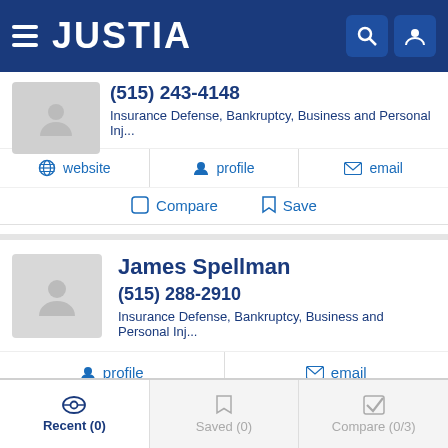[Figure (screenshot): Justia website header with logo, hamburger menu, search and profile icons on dark blue background]
(515) 243-4148
Insurance Defense, Bankruptcy, Business and Personal Inj...
website | profile | email
Compare | Save
James Spellman
(515) 288-2910
Insurance Defense, Bankruptcy, Business and Personal Inj...
profile | email
Compare | Save
Recent (0) | Saved (0) | Compare (0/3)